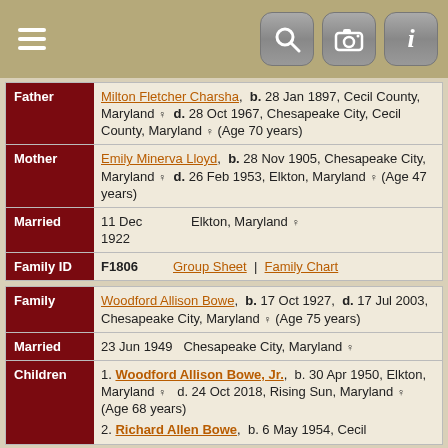Navigation bar with menu, search, camera, and info icons
| Field | Value |
| --- | --- |
| Father | Milton Fletcher Charsha, b. 28 Jan 1897, Cecil County, Maryland, d. 28 Oct 1967, Chesapeake City, Cecil County, Maryland (Age 70 years) |
| Mother | Emily Minerva Lloyd, b. 28 Nov 1905, Chesapeake City, Maryland, d. 26 Feb 1953, Elkton, Maryland (Age 47 years) |
| Married | 11 Dec 1922 | Elkton, Maryland |
| Family ID | F1806 | Group Sheet | Family Chart |
| Field | Value |
| --- | --- |
| Family | Woodford Allison Bowe, b. 17 Oct 1927, d. 17 Jul 2003, Chesapeake City, Maryland (Age 75 years) |
| Married | 23 Jun 1949 | Chesapeake City, Maryland |
| Children | 1. Woodford Allison Bowe, Jr., b. 30 Apr 1950, Elkton, Maryland, d. 24 Oct 2018, Rising Sun, Maryland (Age 68 years)
2. Richard Allen Bowe, b. 6 May 1954, Cecil |